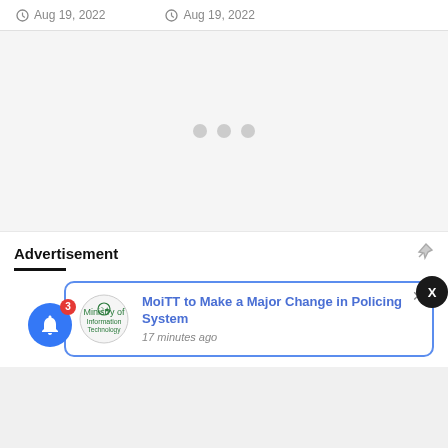Aug 19, 2022
Aug 19, 2022
[Figure (other): Loading spinner dots (three gray circles)]
Advertisement
[Figure (other): Notification card: MoiTT logo, headline 'MoiTT to Make a Major Change in Policing System', time '17 minutes ago']
MoiTT to Make a Major Change in Policing System
17 minutes ago
[Figure (other): Blue bell notification button with red badge showing count 3]